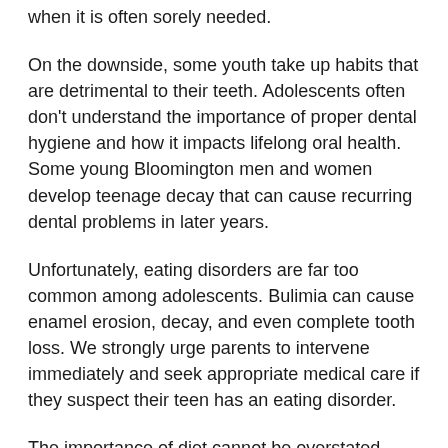when it is often sorely needed.
On the downside, some youth take up habits that are detrimental to their teeth. Adolescents often don't understand the importance of proper dental hygiene and how it impacts lifelong oral health. Some young Bloomington men and women develop teenage decay that can cause recurring dental problems in later years.
Unfortunately, eating disorders are far too common among adolescents. Bulimia can cause enamel erosion, decay, and even complete tooth loss. We strongly urge parents to intervene immediately and seek appropriate medical care if they suspect their teen has an eating disorder.
The importance of diet cannot be overstated. Adolescence is a time when many young men